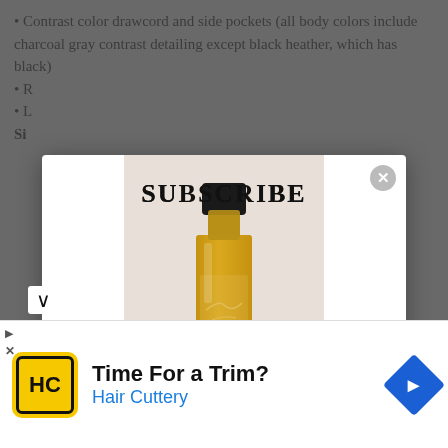Contrast color drawcord and side pockets (all body colors include charcoal gray contrast detailing except black heather, which has black)
[Figure (screenshot): Modal popup overlay with a product image (amber/yellow liquid in a small bottle with black cap), title 'SUBSCRIBE', promotional text 'Take 10% off your first order when you Sign Up', an email address input field, and a yellow 'GET 10% OFF' button. A close button (X) is in the top right corner.]
[Figure (infographic): Advertisement bar at the bottom: Hair Cuttery ad with yellow square logo showing 'HC' in a circle, text 'Time For a Trim?' in black and 'Hair Cuttery' in blue, and a blue diamond-shaped arrow icon on the right. Play and X controls on the far left.]